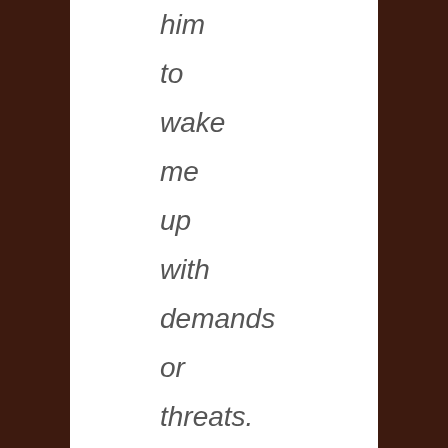him to wake me up with demands or threats. I was so afraid of not being able to see when the assaults took